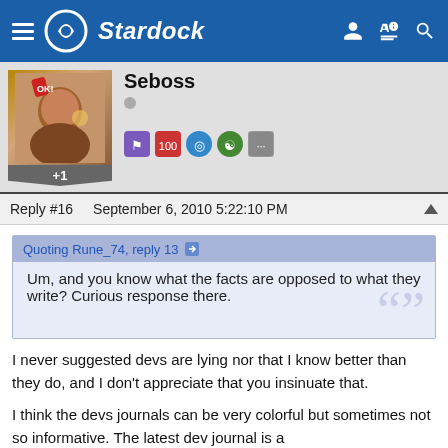Stardock
[Figure (screenshot): Stardock website header with logo and navigation icons]
Seboss
Reply #16   September 6, 2010 5:22:10 PM
Quoting Rune_74, reply 13
Um, and you know what the facts are opposed to what they write?  Curious response there.
I never suggested devs are lying nor that I know better than they do, and I don't appreciate that you insinuate that.
I think the devs journals can be very colorful but sometimes not so informative. The latest dev journal is a